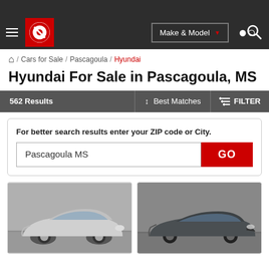[Figure (screenshot): CarGurus website navigation header with hamburger menu, red CarGurus logo, Make & Model dropdown button, and search icon on dark background]
/ Cars for Sale / Pascagoula / Hyundai
Hyundai For Sale in Pascagoula, MS
562 Results   ↑↓   Best Matches   FILTER
For better search results enter your ZIP code or City.
Pascagoula MS   GO
[Figure (photo): Silver Hyundai Veloster coupe parked in a showroom or garage]
[Figure (photo): Dark grey Hyundai Sonata sedan parked in a showroom or garage]